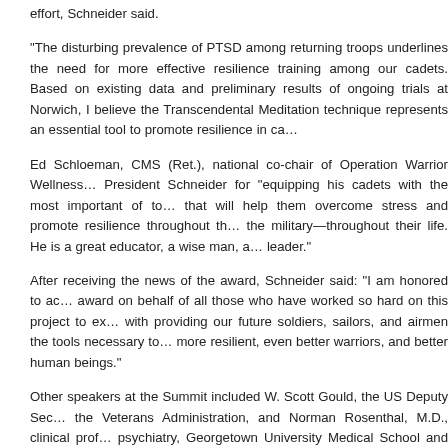effort, Schneider said.
“The disturbing prevalence of PTSD among returning troops underlines the need for more effective resilience training among our cadets. Based on existing data and preliminary results of ongoing trials at Norwich, I believe the Transcendental Meditation technique represents an essential tool to promote resilience in ca…
Ed Schloeman, CMS (Ret.), national co-chair of Operation Warrior Wellness… President Schneider for “equipping his cadets with the most important of to… that will help them overcome stress and promote resilience throughout th… the military—throughout their life. He is a great educator, a wise man, a… leader.”
After receiving the news of the award, Schneider said: “I am honored to ac… award on behalf of all those who have worked so hard on this project to ex… with providing our future soldiers, sailors, and airmen the tools necessary to… more resilient, even better warriors, and better human beings.”
Other speakers at the Summit included W. Scott Gould, the US Deputy Sec… the Veterans Administration, and Norman Rosenthal, M.D., clinical prof… psychiatry, Georgetown University Medical School and author of a brea… research study, which found a 50% reduction in the symptoms of PTSD… veterans who practice TM.
Reported in newstimes.com. Related articles: Washington Post: Transcendental Meditation help veterans with PTSD? | POLITICO: Co… PTSD | Washington Post: VA testing whether meditation can help treat PTSD…